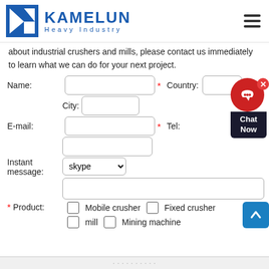[Figure (logo): Kamelun Heavy Industry logo with blue K triangle icon and text]
about industrial crushers and mills, please contact us immediately to learn what we can do for your next project.
Name: [input field] * Country: [input field]
City: [input field]
E-mail: [input field] * Tel: [input field]
Instant message: skype [dropdown] [input field]
* Product: [ ] Mobile crusher [ ] Fixed crusher [ ] mill [ ] Mining machine